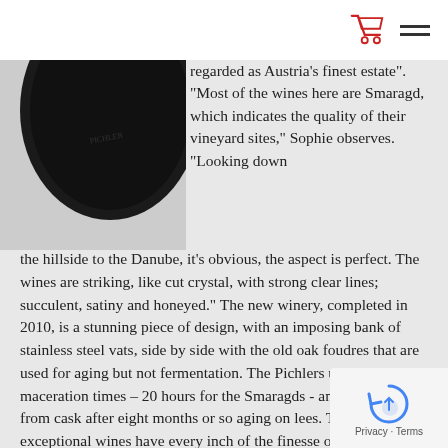[cart icon] [menu icon]
[Figure (photo): Bottom portion of a dark wine bottle with label partially visible, on a grey background]
regarded as Austria's finest estate". "Most of the wines here are Smaragd, which indicates the quality of their vineyard sites," Sophie observes. "Looking down the hillside to the Danube, it's obvious, the aspect is perfect. The wines are striking, like cut crystal, with strong clear lines; succulent, satiny and honeyed." The new winery, completed in 2010, is a stunning piece of design, with an imposing bank of stainless steel vats, side by side with the old oak foudres that are used for aging but not fermentation. The Pichlers use long maceration times – 20 hours for the Smaragds - and bottle direct from cask after eight months or so aging on lees. These exceptional wines have every inch of the finesse of Prager, but communicated through a slightly more open, loose- knit framework.